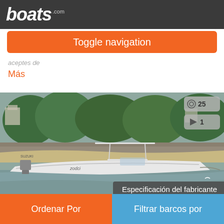boats .com
Toggle navigation
aceptes de
Más
[Figure (photo): A white rigid inflatable boat (RIB) with a T-top canopy and Suzuki outboard motor moored near a rocky/sandy shoreline with trees and buildings in the background. Photo count badge showing 25 photos and 1 video.]
Especificación del fabricante
Ordenar Por
Filtrar barcos por